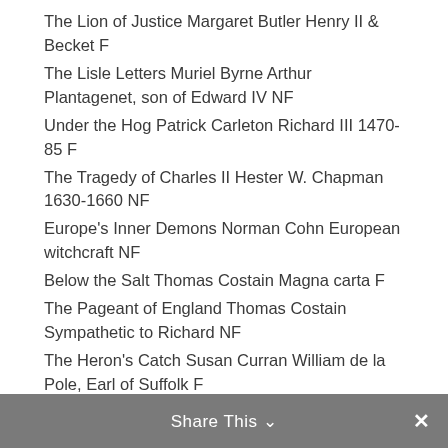The Lion of Justice Margaret Butler Henry II & Becket F
The Lisle Letters Muriel Byrne Arthur Plantagenet, son of Edward IV NF
Under the Hog Patrick Carleton Richard III 1470-85 F
The Tragedy of Charles II Hester W. Chapman 1630-1660 NF
Europe's Inner Demons Norman Cohn European witchcraft NF
Below the Salt Thomas Costain Magna carta F
The Pageant of England Thomas Costain Sympathetic to Richard NF
The Heron's Catch Susan Curran William de la Pole, Earl of Suffolk F
The Midwife's Apprentice Karen Cushman 14th C
Share This ∨  ✕